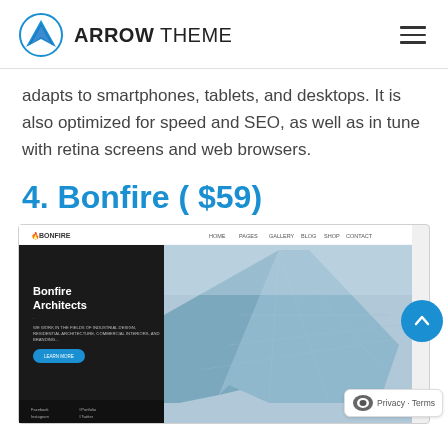ARROW THEME
adapts to smartphones, tablets, and desktops. It is also optimized for speed and SEO, as well as in tune with retina screens and web browsers.
4. Bonfire ( $59)
[Figure (screenshot): Screenshot of the Bonfire Architects website theme, showing a dark left panel with 'Bonfire Architects' heading and a large hero image of a modern glass angular building against a blue sky. Navigation bar at top with BONFIRE logo. Social media links at the bottom left.]